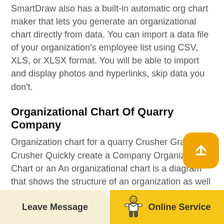SmartDraw also has a built-in automatic org chart maker that lets you generate an organizational chart directly from data. You can import a data file of your organization's employee list using CSV, XLS, or XLSX format. You will be able to import and display photos and hyperlinks, skip data you don't.
Organizational Chart Of Quarry Company
Organization chart for a quarry Crusher Granite Crusher Quickly create a Company Organization Chart or an An organizational chart is a diagram that shows the structure of an organization as well Bellick gold Mining.
Organisation Chart Of A Granite Quarry
Crusher Crusher Plant Organisation ChartQuarry and crusher plant organisation chart, quarry construction